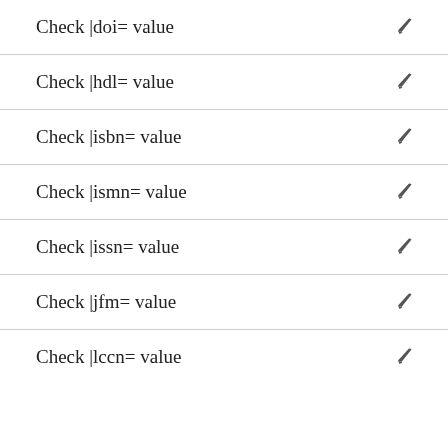Check |doi= value
Check |hdl= value
Check |isbn= value
Check |ismn= value
Check |issn= value
Check |jfm= value
Check |lccn= value